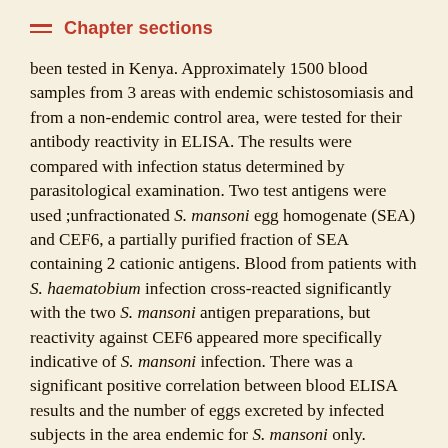Chapter sections
been tested in Kenya. Approximately 1500 blood samples from 3 areas with endemic schistosomiasis and from a non-endemic control area, were tested for their antibody reactivity in ELISA. The results were compared with infection status determined by parasitological examination. Two test antigens were used ;unfractionated S. mansoni egg homogenate (SEA) and CEF6, a partially purified fraction of SEA containing 2 cationic antigens. Blood from patients with S. haematobium infection cross-reacted significantly with the two S. mansoni antigen preparations, but reactivity against CEF6 appeared more specifically indicative of S. mansoni infection. There was a significant positive correlation between blood ELISA results and the number of eggs excreted by infected subjects in the area endemic for S. mansoni only. Highest correlation coefficients